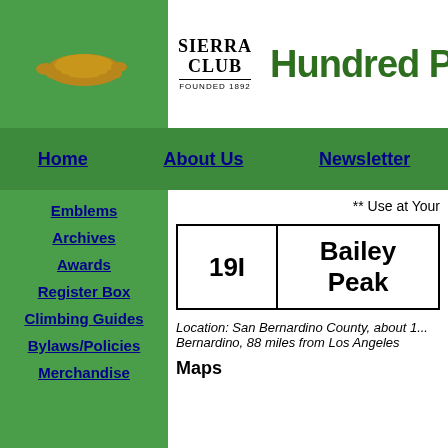[Figure (logo): Sierra Club logo with text SIERRA CLUB FOUNDED 1892]
Hundred Pe
Home | About Us | Newsletter
Emblems
Archives
Awards
Register Box
Climbing Guides
Bylaws/Policies
Merchandise
** Use at Your
| ID | Peak Name |
| --- | --- |
| 19I | Bailey Peak |
Location: San Bernardino County, about 1... Bernardino, 88 miles from Los Angeles
Maps